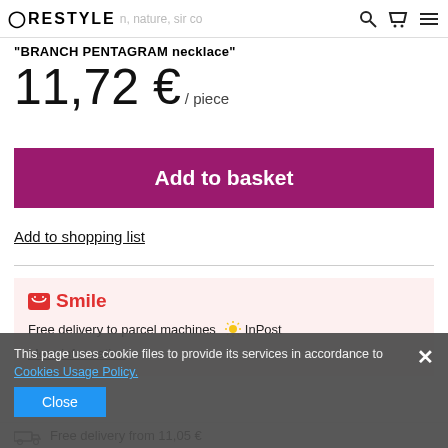RESTYLE | nature, silver co...
"BRANCH PENTAGRAM necklace"
11,72 € / piece
Add to basket
Add to shopping list
Smile
Free delivery to parcel machines InPost
More information
This page uses cookie files to provide its services in accordance to Cookies Usage Policy.
Close
Free delivery from 11,05 €